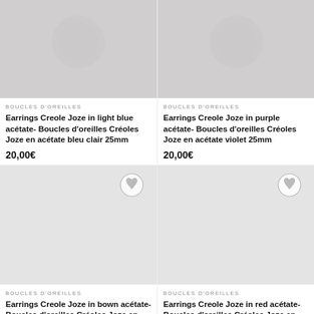[Figure (photo): Product image of earrings in light blue acétate on grey background]
BOUCLES D'OREILLES
Earrings Creole Joze in light blue acétate- Boucles d'oreilles Créoles Joze en acétate bleu clair 25mm
20,00€
[Figure (photo): Product image of earrings in purple acétate on grey background]
BOUCLES D'OREILLES
Earrings Creole Joze in purple acétate- Boucles d'oreilles Créoles Joze en acétate violet 25mm
20,00€
[Figure (photo): Product image placeholder for earrings in brown acétate]
BOUCLES D'OREILLES
Earrings Creole Joze in bown acétate- Boucles d'oreilles Créoles Joze en acétate marron 25mm
20,00€
[Figure (photo): Product image placeholder for earrings in red acétate]
BOUCLES D'OREILLES
Earrings Creole Joze in red acétate- Boucles d'oreilles Créoles Joze en acétate rouge 25mm
20,00€